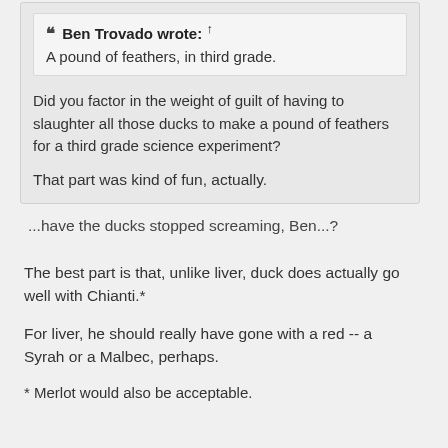❝ Ben Trovado wrote: ↑
A pound of feathers, in third grade.
Did you factor in the weight of guilt of having to slaughter all those ducks to make a pound of feathers for a third grade science experiment?
That part was kind of fun, actually.
...have the ducks stopped screaming, Ben...?
The best part is that, unlike liver, duck does actually go well with Chianti.*
For liver, he should really have gone with a red -- a Syrah or a Malbec, perhaps.
* Merlot would also be acceptable.